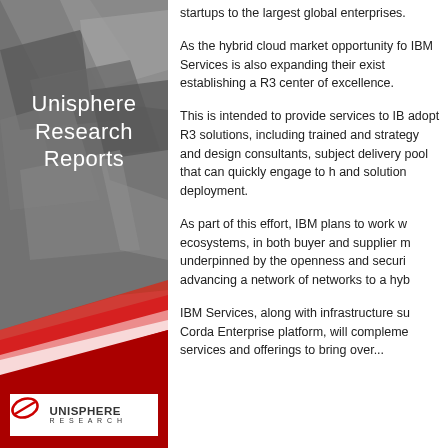[Figure (illustration): Unisphere Research Reports branded left panel with geometric gray shapes, red diagonal swoosh/ribbon graphic, white text title, and Unisphere Research logo at bottom]
Unisphere Research Reports
startups to the largest global enterprises.
As the hybrid cloud market opportunity fo IBM Services is also expanding their exist establishing a R3 center of excellence.
This is intended to provide services to IB adopt R3 solutions, including trained and strategy and design consultants, subject delivery pool that can quickly engage to h and solution deployment.
As part of this effort, IBM plans to work w ecosystems, in both buyer and supplier m underpinned by the openness and securi advancing a network of networks to a hyb
IBM Services, along with infrastructure su Corda Enterprise platform, will compleme services and offerings to bring over...